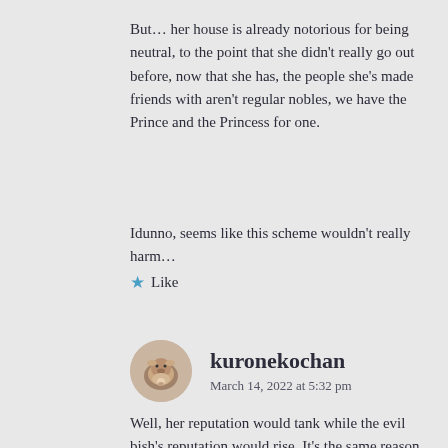But… her house is already notorious for being neutral, to the point that she didn't really go out before, now that she has, the people she's made friends with aren't regular nobles, we have the Prince and the Princess for one.
Idunno, seems like this scheme wouldn't really harm…
★ Like
kuronekochan
March 14, 2022 at 5:32 pm
Well, her reputation would tank while the evil bish's reputation would rise. It's the same reason why she went and did all that volunteer work. She is playing a